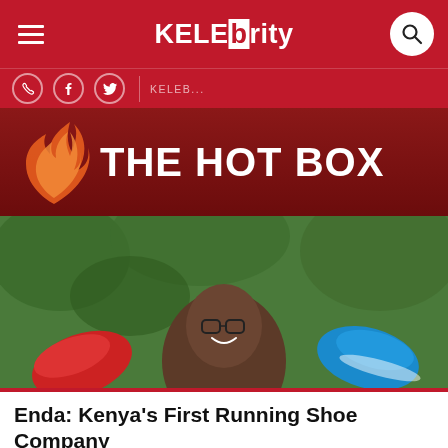KELEbrity
[Figure (logo): THE HOT BOX logo with flame icon on dark red background]
[Figure (photo): A smiling Kenyan woman holding a red running shoe on the left and a blue running shoe on the right, outdoors with green foliage in background]
Enda: Kenya's First Running Shoe Company